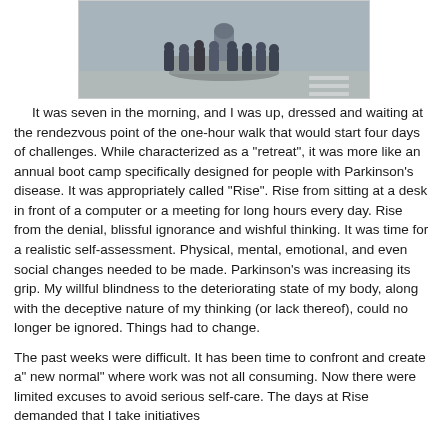[Figure (photo): Group photo of people standing together outdoors near a monument or statue on a raised circular platform, on a street or plaza.]
It was seven in the morning, and I was up, dressed and waiting at the rendezvous point of the one-hour walk that would start four days of challenges. While characterized as a “retreat”, it was more like an annual boot camp specifically designed for people with Parkinson’s disease. It was appropriately called “Rise”. Rise from sitting at a desk in front of a computer or a meeting for long hours every day. Rise from the denial, blissful ignorance and wishful thinking.  It was time for a realistic self-assessment.  Physical, mental, emotional, and even social changes needed to be made. Parkinson’s was increasing its grip. My willful blindness to the deteriorating state of my body, along with the deceptive nature of my thinking (or lack thereof), could no longer be ignored. Things had to change.
The past weeks were difficult. It has been time to confront and create a” new normal” where work was not all consuming. Now there were limited excuses to avoid serious self-care. The days at Rise demanded that I take initiatives